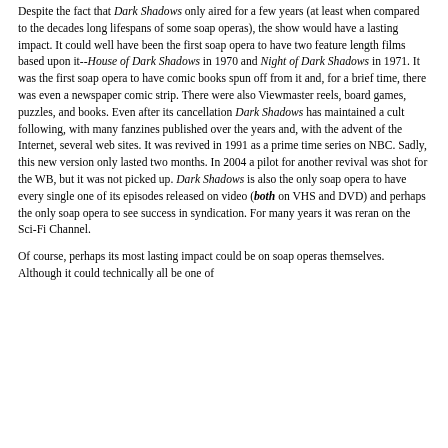Despite the fact that Dark Shadows only aired for a few years (at least when compared to the decades long lifespans of some soap operas), the show would have a lasting impact. It could well have been the first soap opera to have two feature length films based upon it--House of Dark Shadows in 1970 and Night of Dark Shadows in 1971. It was the first soap opera to have comic books spun off from it and, for a brief time, there was even a newspaper comic strip. There were also Viewmaster reels, board games, puzzles, and books. Even after its cancellation Dark Shadows has maintained a cult following, with many fanzines published over the years and, with the advent of the Internet, several web sites. It was revived in 1991 as a prime time series on NBC. Sadly, this new version only lasted two months. In 2004 a pilot for another revival was shot for the WB, but it was not picked up. Dark Shadows is also the only soap opera to have every single one of its episodes released on video (both on VHS and DVD) and perhaps the only soap opera to see success in syndication. For many years it was reran on the Sci-Fi Channel.
Of course, perhaps its most lasting impact could be on soap operas themselves. Although it could technically all be one of...